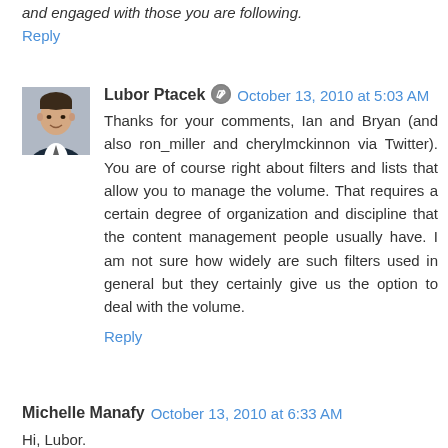and engaged with those you are following.
Reply
Lubor Ptacek • October 13, 2010 at 5:03 AM
Thanks for your comments, Ian and Bryan (and also ron_miller and cherylmckinnon via Twitter). You are of course right about filters and lists that allow you to manage the volume. That requires a certain degree of organization and discipline that the content management people usually have. I am not sure how widely are such filters used in general but they certainly give us the option to deal with the volume.
Reply
Michelle Manafy October 13, 2010 at 6:33 AM
Hi, Lubor.
Funny, Ron Miller (@ron_miller) and I have had this conversation many times over the years, regarding many old and new technologies: I agree completely that Twitter